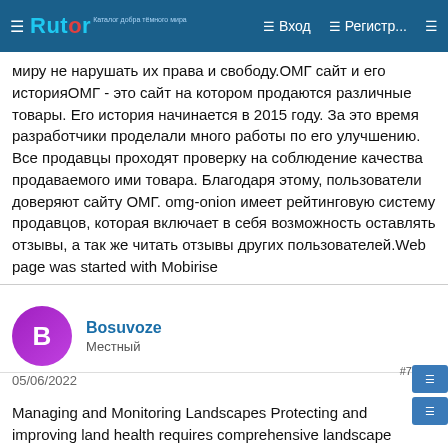☰ Rutor | Вход | Регистр...
миру не нарушать их права и свободу.ОМГ сайт и его историяОМГ - это сайт на котором продаются различные товары. Его история начинается в 2015 году. За это время разработчики проделали много работы по его улучшению. Все продавцы проходят проверку на соблюдение качества продаваемого ими товара. Благодаря этому, пользователи доверяют сайту ОМГ. omg-onion имеет рейтинговую систему продавцов, которая включает в себя возможность оставлять отзывы, а так же читать отзывы других пользователей.Web page was started with Mobirise
Bosuvoze
Местный
05/06/2022 #7
Managing and Monitoring Landscapes Protecting and improving land health requires comprehensive landscape management